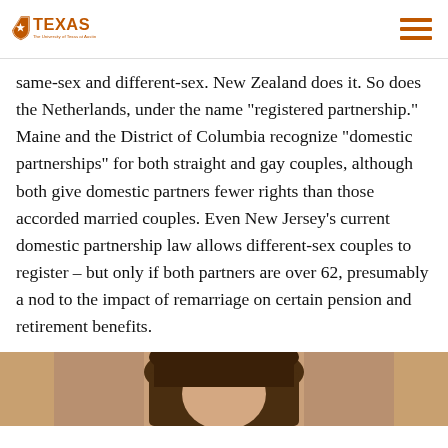The University of Texas at Austin
same-sex and different-sex. New Zealand does it. So does the Netherlands, under the name “registered partnership.” Maine and the District of Columbia recognize “domestic partnerships” for both straight and gay couples, although both give domestic partners fewer rights than those accorded married couples. Even New Jersey’s current domestic partnership law allows different-sex couples to register – but only if both partners are over 62, presumably a nod to the impact of remarriage on certain pension and retirement benefits.
[Figure (photo): Photograph of a person, partially visible, showing hair and top of head/face against a light background.]